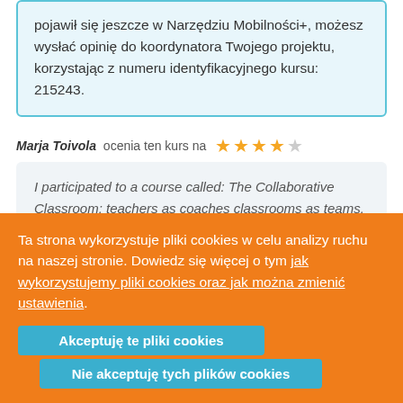pojawił się jeszcze w Narzędziu Mobilności+, możesz wysłać opinię do koordynatora Twojego projektu, korzystając z numeru identyfikacyjnego kursu: 215243.
Marja Toivola ocenia ten kurs na [4/5 stars]
I participated to a course called: The Collaborative Classroom: teachers as coaches classrooms as teams. The main subjects in the course included team building and working in teams. We studied and practised different kind of methods of team...
Ta strona wykorzystuje pliki cookies w celu analizy ruchu na naszej stronie. Dowiedz się więcej o tym jak wykorzystujemy pliki cookies oraz jak można zmienić ustawienia.
Akceptuję te pliki cookies
Nie akceptuję tych plików cookies